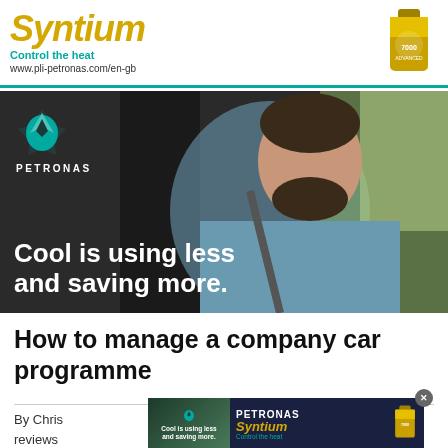[Figure (advertisement): Petronas Syntium oil advertisement banner with gold italic Syntium text, 'Control the heat' tagline in teal, URL www.pli-petronas.com/en-gb, teal horizontal rule, and gold oil bottle image on right]
[Figure (advertisement): Petronas full-width image ad showing man driving car with Petronas logo (teal droplet/diamond logo) and PETRONAS wordmark, with large white bold text 'Cool is using less and saving more.' overlaid on dark background]
How to manage a company car programme
By Chris
s and reviews
ompany
[Figure (advertisement): Overlay popup Petronas Syntium ad with 'Cool is using less and saving more.' text on dark blue background, PETRONAS Syntium branding with teal 'Control the heat' text, gold oil bottle, and X close button]